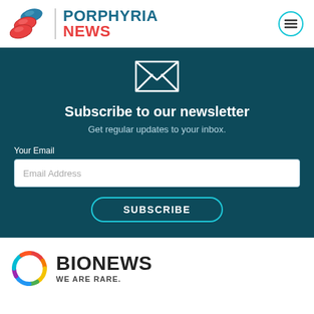[Figure (logo): Porphyria News logo with red blood cell pills icon, vertical divider, and site name 'PORPHYRIA NEWS' in blue and red, plus hamburger menu icon]
Subscribe to our newsletter
Get regular updates to your inbox.
Your Email
Email Address
SUBSCRIBE
[Figure (logo): BioNews 'We Are Rare.' logo with colorful circular icon]